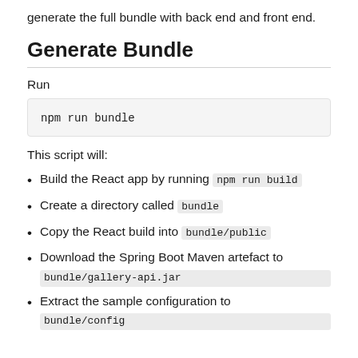generate the full bundle with back end and front end.
Generate Bundle
Run
This script will:
Build the React app by running npm run build
Create a directory called bundle
Copy the React build into bundle/public
Download the Spring Boot Maven artefact to bundle/gallery-api.jar
Extract the sample configuration to bundle/config